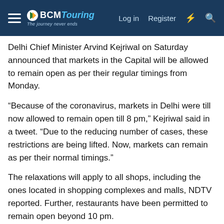BCMTouring — The journey never ends | Log in | Register
Delhi Chief Minister Arvind Kejriwal on Saturday announced that markets in the Capital will be allowed to remain open as per their regular timings from Monday.
“Because of the coronavirus, markets in Delhi were till now allowed to remain open till 8 pm,” Kejriwal said in a tweet. “Due to the reducing number of cases, these restrictions are being lifted. Now, markets can remain as per their normal timings.”
The relaxations will apply to all shops, including the ones located in shopping complexes and malls, NDTV reported. Further, restaurants have been permitted to remain open beyond 10 pm.
Delhi on Saturday reported 19 new cases of coronavirus, the lowest since April 15, 2020. The city has